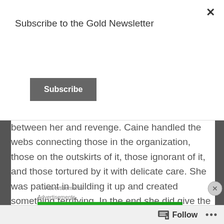Subscribe to the Gold Newsletter
Subscribe
between her and revenge. Caine handled the webs connecting those in the organization, those on the outskirts of it, those ignorant of it, and those tortured by it with delicate care. She was patient in building it up and created something terrifying. In the end she did give the means to be the boogeyman Gwen thought it to be.
Advertisements
Advertisements